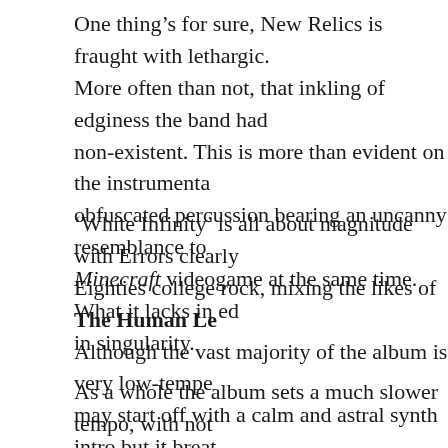One thing's for sure, New Relics is fraught with lethargic. More often than not, that inkling of edginess the band had non-existent. This is more than evident on the instrumenta obfuscated percussion bearing an uncanny resemblance to Minecraft videogame at the same time. What it lacks in ed in singularity.
'White Infinity' is all about magnitude with Errors clearly Eighties college rock, mixing the likes of The Human Le Although the vast majority of the album is very low-tempe may start off with a calm and astral synth intro but it breat Relics, with a relentlessly punchy house beat interjecting i shame this fresh air blows through the albums closing curt
As a whole the album sets a much slower tempo, with not found on the band's previous releases. New Relics is defir free from the restraints of critical conjecture. It's certainly